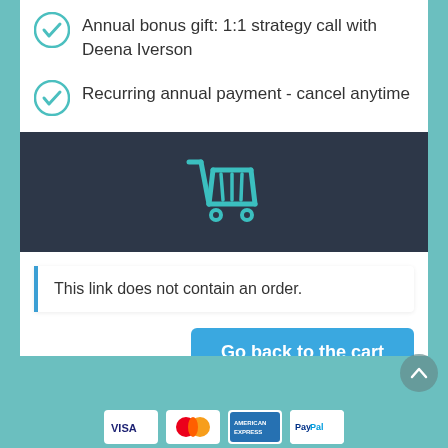Annual bonus gift: 1:1 strategy call with Deena Iverson
Recurring annual payment - cancel anytime
[Figure (illustration): Dark banner with teal shopping cart icon]
This link does not contain an order.
Go back to the cart
© ThriveCart 2022+
[Figure (illustration): Payment method icons: Visa, Mastercard, American Express, PayPal]